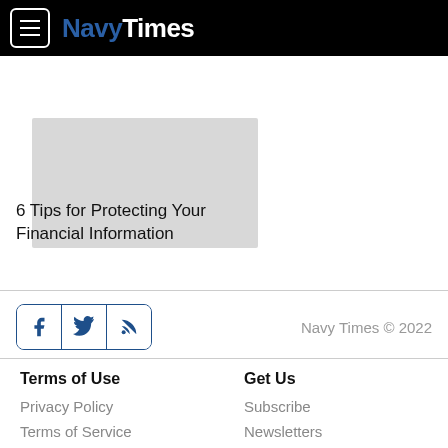NavyTimes
[Figure (photo): Article thumbnail image placeholder (light gray rectangle)]
6 Tips for Protecting Your Financial Information
Navy Times © 2022
Terms of Use
Get Us
Privacy Policy
Terms of Service
Subscribe
Newsletters
RSS Feeds